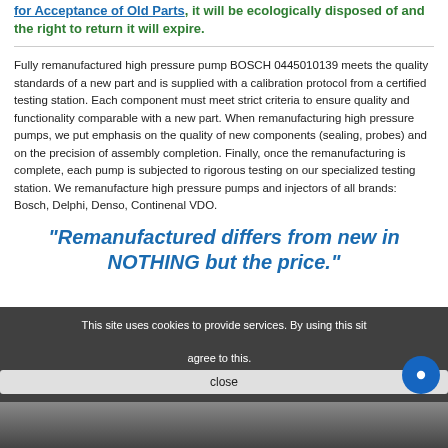for Acceptance of Old Parts, it will be ecologically disposed of and the right to return it will expire.
Fully remanufactured high pressure pump BOSCH 0445010139 meets the quality standards of a new part and is supplied with a calibration protocol from a certified testing station. Each component must meet strict criteria to ensure quality and functionality comparable with a new part. When remanufacturing high pressure pumps, we put emphasis on the quality of new components (sealing, probes) and on the precision of assembly completion. Finally, once the remanufacturing is complete, each pump is subjected to rigorous testing on our specialized testing station. We remanufacture high pressure pumps and injectors of all brands: Bosch, Delphi, Denso, Continenal VDO.
"Remanufactured differs from new in NOTHING but the price."
This site uses cookies to provide services. By using this site you agree to this.